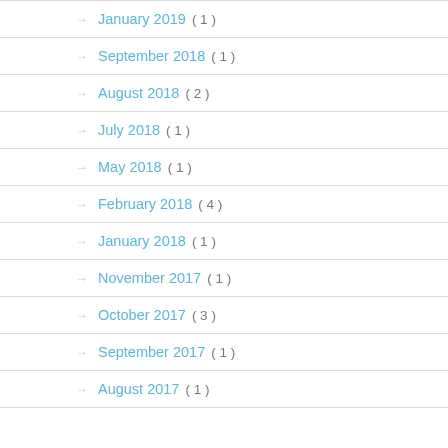January 2019 ( 1 )
September 2018 ( 1 )
August 2018 ( 2 )
July 2018 ( 1 )
May 2018 ( 1 )
February 2018 ( 4 )
January 2018 ( 1 )
November 2017 ( 1 )
October 2017 ( 3 )
September 2017 ( 1 )
August 2017 ( 1 )